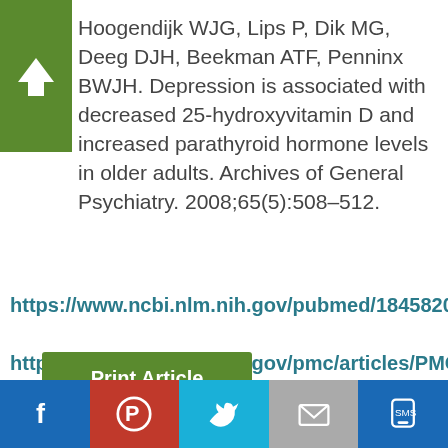Hoogendijk WJG, Lips P, Dik MG, Deeg DJH, Beekman ATF, Penninx BWJH. Depression is associated with decreased 25-hydroxyvitamin D and increased parathyroid hormone levels in older adults. Archives of General Psychiatry. 2008;65(5):508–512.
https://www.ncbi.nlm.nih.gov/pubmed/18458202
https://www.ncbi.nlm.nih.gov/pmc/articles/PMC
Print Article